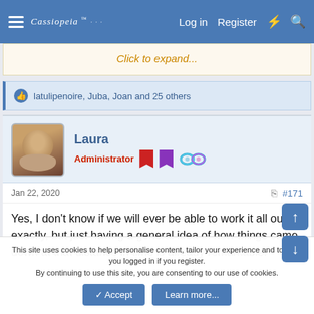Cassiopeia  Log in  Register
Click to expand...
latulipenoire, Juba, Joan and 25 others
Laura
Administrator
Jan 22, 2020   #171
Yes, I don't know if we will ever be able to work it all out exactly, but just having a general idea of how things came down at that distance in time is already remarkable.
This site uses cookies to help personalise content, tailor your experience and to keep you logged in if you register. By continuing to use this site, you are consenting to our use of cookies.